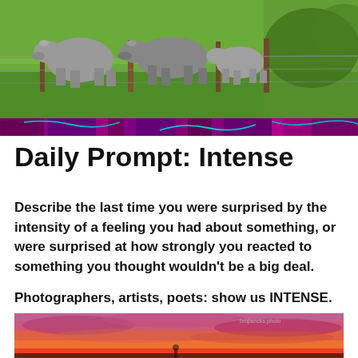[Figure (photo): Cows standing behind a wire fence on green grass, with trees in the background]
[Figure (illustration): Decorative horizontal band with purple and magenta swirls and teal flourishes on dark background]
Daily Prompt: Intense
Describe the last time you were surprised by the intensity of a feeling you had about something, or were surprised at how strongly you reacted to something you thought wouldn't be a big deal.
Photographers, artists, poets: show us INTENSE.
[Figure (photo): Dramatic sunset sky with orange and pink clouds, silhouette of a person visible at the bottom, with small watermark text 'bmpancks photo']